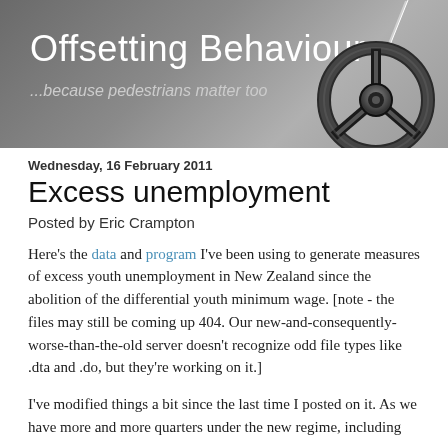[Figure (illustration): Blog header banner with text 'Offsetting Behaviour' and subtitle '...because pedestrians matter too', with a steering wheel graphic on the right side, on a grey gradient background.]
Wednesday, 16 February 2011
Excess unemployment
Posted by Eric Crampton
Here's the data and program I've been using to generate measures of excess youth unemployment in New Zealand since the abolition of the differential youth minimum wage. [note - the files may still be coming up 404. Our new-and-consequently-worse-than-the-old server doesn't recognize odd file types like .dta and .do, but they're working on it.]
I've modified things a bit since the last time I posted on it. As we have more and more quarters under the new regime, including